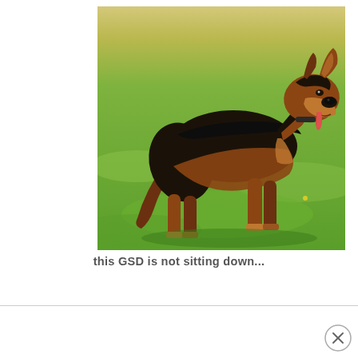[Figure (photo): A German Shepherd Dog (GSD) standing on green grass with yellow flowers, photographed from the side. The dog has typical black and tan coloring, ears erect, tongue out, tail down.]
this GSD is not sitting down...